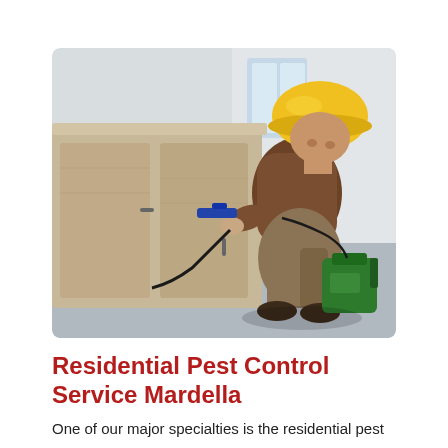[Figure (photo): A pest control worker wearing a yellow hard hat and brown uniform, crouching down and using a handheld sprayer to treat kitchen cabinets. A green spray tank sits on the floor beside them.]
Residential Pest Control Service Mardella
One of our major specialties is the residential pest control service. We offer reliable and quality...